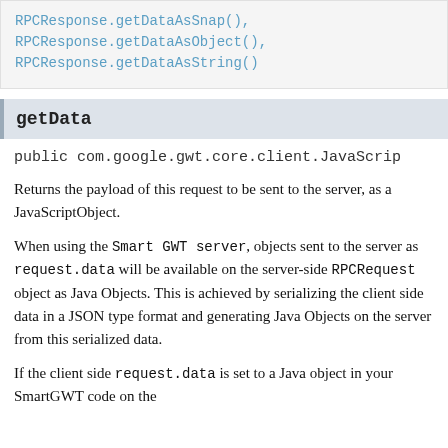RPCResponse.getDataAsSnap();
RPCResponse.getDataAsObject(),
RPCResponse.getDataAsString()
getData
public com.google.gwt.core.client.JavaScrip
Returns the payload of this request to be sent to the server, as a JavaScriptObject.
When using the Smart GWT server, objects sent to the server as request.data will be available on the server-side RPCRequest object as Java Objects. This is achieved by serializing the client side data in a JSON type format and generating Java Objects on the server from this serialized data.
If the client side request.data is set to a Java object in your SmartGWT code on the